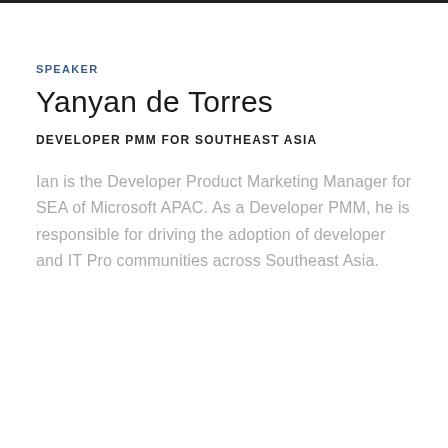SPEAKER
Yanyan de Torres
DEVELOPER PMM FOR SOUTHEAST ASIA
Ian is the Developer Product Marketing Manager for SEA of Microsoft APAC. As a Developer PMM, he is responsible for driving the adoption of developer and IT Pro communities across Southeast Asia.